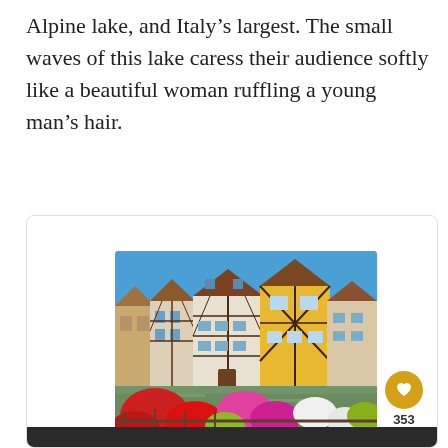Alpine lake, and Italy’s largest. The small waves of this lake caress their audience softly like a beautiful woman ruffling a young man’s hair.
[Figure (photo): A row of colorful half-timbered Alsatian houses along a canal with vibrant red, pink, and white flower displays in the foreground and a bright blue sky above.]